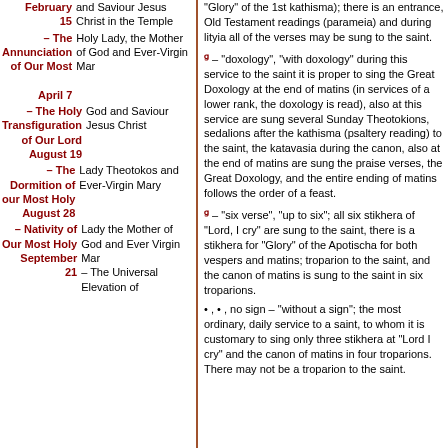February 15 – and Saviour Jesus Christ in the Temple
April 7 – The Annunciation of Our Most Holy Lady, the Mother of God and Ever-Virgin Mar
August 19 – The Holy Transfiguration of Our Lord God and Saviour Jesus Christ
August 28 – The Dormition of our Most Holy Lady Theotokos and Ever-Virgin Mary
September 21 – Nativity of Our Most Holy Lady the Mother of God and Ever Virgin Mar – The Universal Elevation of
"Glory" of the 1st kathisma); there is an entrance, Old Testament readings (parameia) and during lityia all of the verses may be sung to the saint.
– "doxology", "with doxology" during this service to the saint it is proper to sing the Great Doxology at the end of matins (in services of a lower rank, the doxology is read), also at this service are sung several Sunday Theotokions, sedalions after the kathisma (psaltery reading) to the saint, the katavasia during the canon, also at the end of matins are sung the praise verses, the Great Doxology, and the entire ending of matins follows the order of a feast.
– "six verse", "up to six"; all six stikhera of "Lord, I cry" are sung to the saint, there is a stikhera for "Glory" of the Apotischa for both vespers and matins; troparion to the saint, and the canon of matins is sung to the saint in six troparions.
•, •, no sign – "without a sign"; the most ordinary, daily service to a saint, to whom it is customary to sing only three stikhera at "Lord I cry" and the canon of matins in four troparions. There may not be a troparion to the saint.